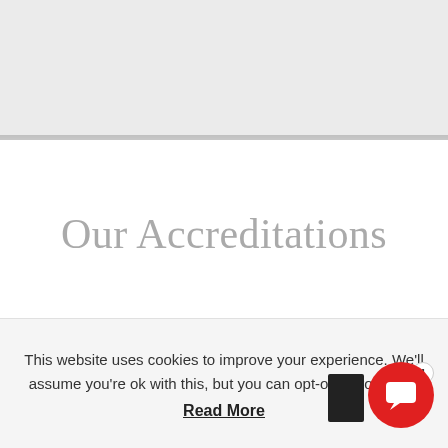Our Accreditations
This website uses cookies to improve your experience. We'll assume you're ok with this, but you can opt-out if you wish.
Read More